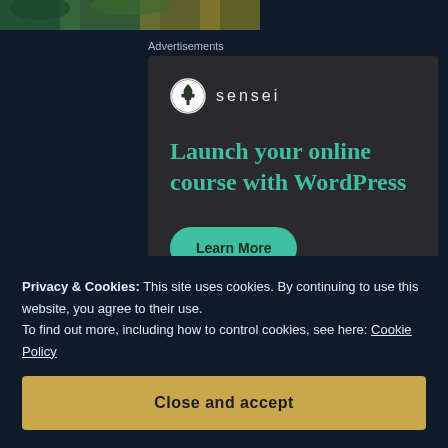[Figure (photo): Partial top image strip showing outdoor scene with greenery and figures]
Advertisements
[Figure (infographic): Sensei advertisement box with logo, headline 'Launch your online course with WordPress' and 'Learn More' button]
Privacy & Cookies: This site uses cookies. By continuing to use this website, you agree to their use. To find out more, including how to control cookies, see here: Cookie Policy
Close and accept